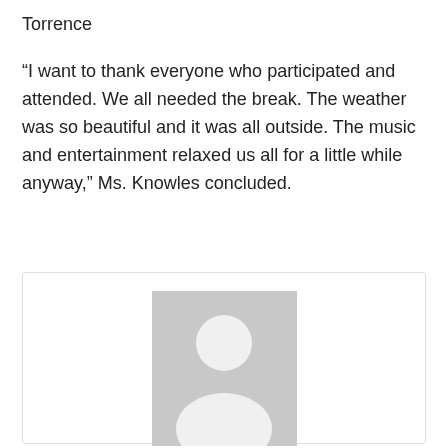Torrence
“I want to thank everyone who participated and attended. We all needed the break. The weather was so beautiful and it was all outside. The music and entertainment relaxed us all for a little while anyway,” Ms. Knowles concluded.
[Figure (photo): Placeholder avatar image of a person silhouette in gray]
Leslie Stein